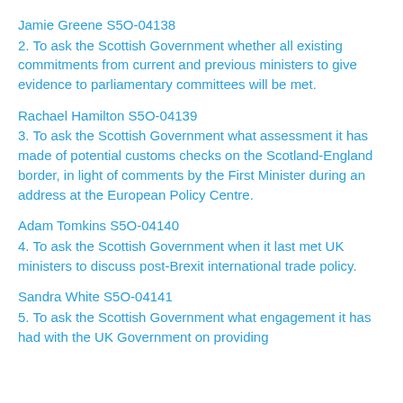Jamie Greene S5O-04138
2. To ask the Scottish Government whether all existing commitments from current and previous ministers to give evidence to parliamentary committees will be met.
Rachael Hamilton S5O-04139
3. To ask the Scottish Government what assessment it has made of potential customs checks on the Scotland-England border, in light of comments by the First Minister during an address at the European Policy Centre.
Adam Tomkins S5O-04140
4. To ask the Scottish Government when it last met UK ministers to discuss post-Brexit international trade policy.
Sandra White S5O-04141
5. To ask the Scottish Government what engagement it has had with the UK Government on providing...